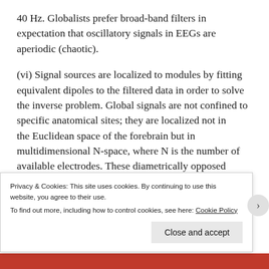40 Hz. Globalists prefer broad-band filters in expectation that oscillatory signals in EEGs are aperiodic (chaotic).
(vi) Signal sources are localized to modules by fitting equivalent dipoles to the filtered data in order to solve the inverse problem. Global signals are not confined to specific anatomical sites; they are localized not in the Euclidean space of the forebrain but in multidimensional N-space, where N is the number of available electrodes. These diametrically opposed
Privacy & Cookies: This site uses cookies. By continuing to use this website, you agree to their use.
To find out more, including how to control cookies, see here: Cookie Policy